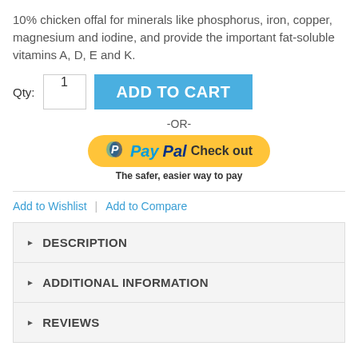10% chicken offal for minerals like phosphorus, iron, copper, magnesium and iodine, and provide the important fat-soluble vitamins A, D, E and K.
Qty: 1  ADD TO CART
-OR-
[Figure (other): PayPal Check out button with tagline 'The safer, easier way to pay']
Add to Wishlist  |  Add to Compare
DESCRIPTION
ADDITIONAL INFORMATION
REVIEWS
Product Tags
Add Your Tags: